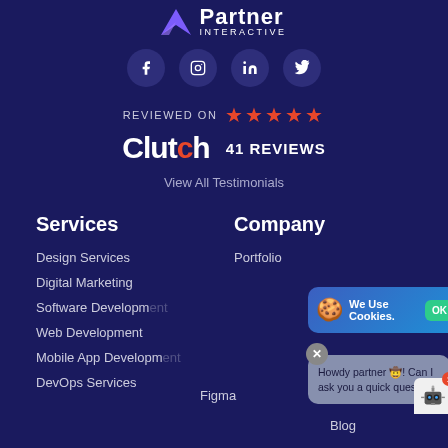[Figure (logo): Partner Interactive logo with arrow icon, text 'Partner' and 'INTERACTIVE']
[Figure (infographic): Social media icons: Facebook, Instagram, LinkedIn, Twitter in dark circular buttons]
[Figure (infographic): Clutch review badge: 'REVIEWED ON' with 5 red stars, Clutch logo, '41 REVIEWS']
View All Testimonials
Services
Company
Design Services
Portfolio
Digital Marketing
Software Development
Web Development
Mobile App Development
Figma
DevOps Services
Blog
[Figure (infographic): Cookie consent banner with cookie emoji, text 'We Use Cookies.' and green OK button]
[Figure (infographic): Chat popup with close button: 'Howdy partner! Can I ask you a quick question?' with robot icon and notification badge '1']